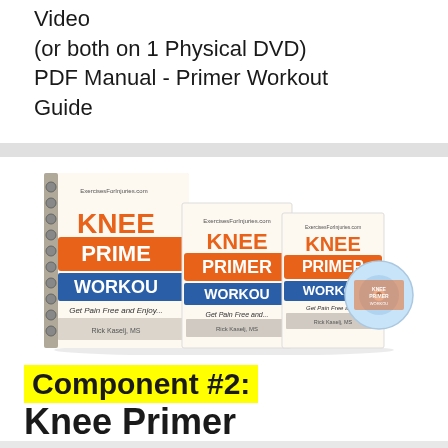Video
(or both on 1 Physical DVD)
PDF Manual - Primer Workout Guide
[Figure (photo): Product image showing Knee Primer Workout books/manuals and a DVD - three versions of the product displayed together]
Component #2: Knee Primer